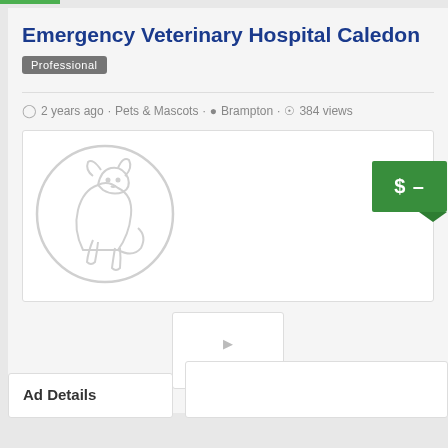Emergency Veterinary Hospital Caledon
Professional
2 years ago · Pets & Mascots · Brampton · 384 views
[Figure (logo): Circular veterinary logo with outline of a dog and cat, light gray watermark style]
[Figure (screenshot): Small thumbnail placeholder with green underline bar]
Ad Details